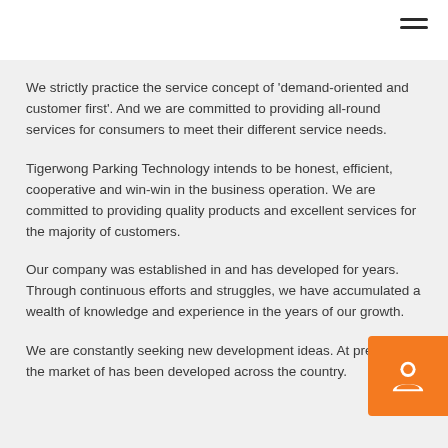We strictly practice the service concept of 'demand-oriented and customer first'. And we are committed to providing all-round services for consumers to meet their different service needs.
Tigerwong Parking Technology intends to be honest, efficient, cooperative and win-win in the business operation. We are committed to providing quality products and excellent services for the majority of customers.
Our company was established in and has developed for years. Through continuous efforts and struggles, we have accumulated a wealth of knowledge and experience in the years of our growth.
We are constantly seeking new development ideas. At present, the market of has been developed across the country.
[Figure (illustration): Orange square button with a white customer support / person icon, positioned at the bottom right corner of the page.]